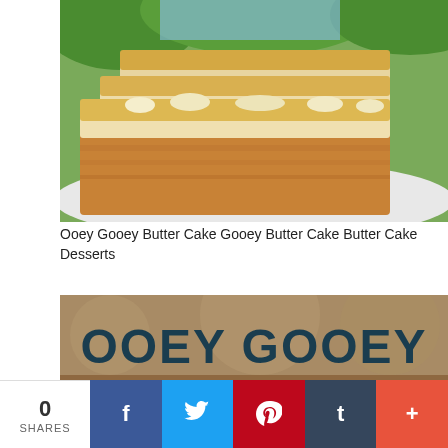[Figure (photo): Close-up photo of stacked slices of Ooey Gooey Butter Cake on a white plate, showing golden-brown cake base with a cream cheese topping, with green foliage in the background]
Ooey Gooey Butter Cake Gooey Butter Cake Butter Cake Desserts
[Figure (photo): Food blog title card image with text 'OOEY GOOEY Butter Cak' in large dark teal and white script lettering on a blurred background with a dark square in the lower right corner]
0 SHARES  f  t  p  t  +